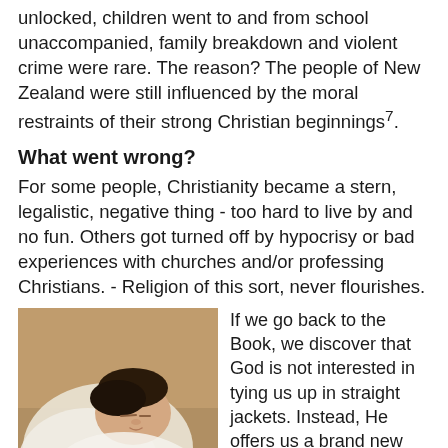unlocked, children went to and from school unaccompanied, family breakdown and violent crime were rare. The reason? The people of New Zealand were still influenced by the moral restraints of their strong Christian beginnings7.
What went wrong?
For some people, Christianity became a stern, legalistic, negative thing - too hard to live by and no fun. Others got turned off by hypocrisy or bad experiences with churches and/or professing Christians. - Religion of this sort, never flourishes.
[Figure (photo): A newborn baby wrapped in white cloth, sleeping, with dark hair, held by an adult hand]
If we go back to the Book, we discover that God is not interested in tying us up in straight jackets. Instead, He offers us a brand new nature3. He offers to give us a new inner strength; to indwell